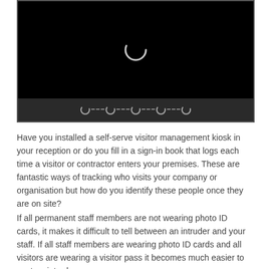[Figure (screenshot): A video player showing a black screen with a loading spinner in the center, and a controls bar at the bottom with 5 small spinner/loading icons connected by dashed lines.]
Have you installed a self-serve visitor management kiosk in your reception or do you fill in a sign-in book that logs each time a visitor or contractor enters your premises. These are fantastic ways of tracking who visits your company or organisation but how do you identify these people once they are on site?
If all permanent staff members are not wearing photo ID cards, it makes it difficult to tell between an intruder and your staff. If all staff members are wearing photo ID cards and all visitors are wearing a visitor pass it becomes much easier to spot an intruder.